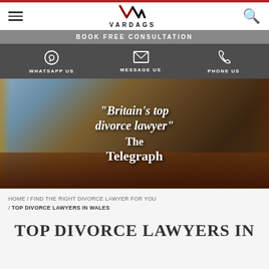[Figure (logo): Vardags law firm logo with V/M monogram in red/black and VARDAGS text below]
BOOK FREE CONSULTATION
WHATSAPP US   MESSAGE US   PHONE US
[Figure (photo): Luxury dining room with mahogany table, flowers, champagne bottle, gold bell, ornate chairs, panoramic windows with curtains. Overlaid text: "Britain's top divorce lawyer" The Telegraph]
HOME / FIND THE RIGHT DIVORCE LAWYER FOR YOU / TOP DIVORCE LAWYERS IN WALES
TOP DIVORCE LAWYERS IN